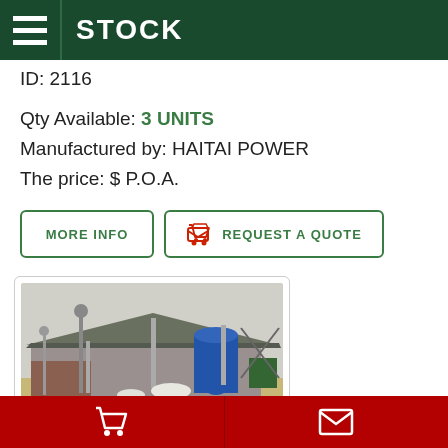STOCK
ID: 2116
Qty Available: 3 UNITS
Manufactured by: HAITAI POWER
The price: $ P.O.A.
[Figure (photo): Industrial building with metal roof structure, poles/lights, and blue storage containers or equipment on sandy ground]
Shopping cart icon | Envelope/mail icon